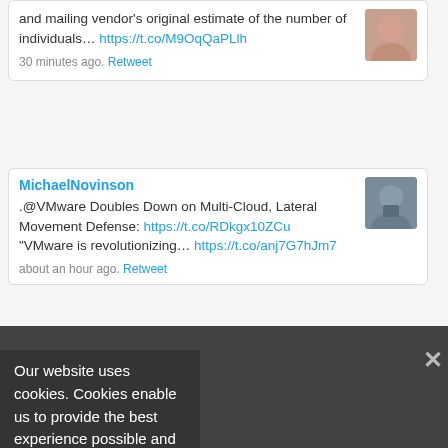and mailing vendor's original estimate of the number of individuals… https://t.co/M9OqQaPLlh
30 minutes ago. Retweet
MichaelNovinson
.@VMware Doubles Down on Multi-Cloud, Lateral Movement Defense: https://t.co/RDkgx10ZCu "VMware is revolutionizing… https://t.co/anj7G7hJm7
about an hour ago. Retweet
Our website uses cookies. Cookies enable us to provide the best experience possible and help us understand how visitors use our website. By browsing databreachtoday.eu, you agree to our use of cookies.
Follow us on Twitter
noname
API Research S&P Global Market Intelligence
The 2022 API Security Trends Report